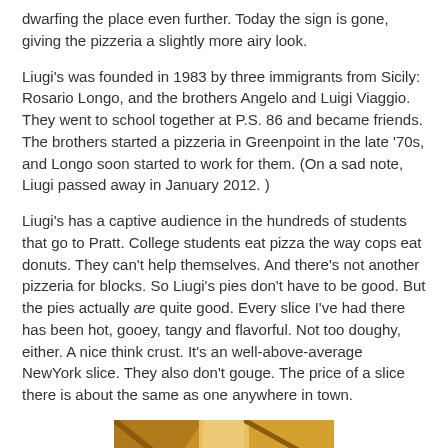dwarfing the place even further. Today the sign is gone, giving the pizzeria a slightly more airy look.
Liugi's was founded in 1983 by three immigrants from Sicily: Rosario Longo, and the brothers Angelo and Luigi Viaggio. They went to school together at P.S. 86 and became friends. The brothers started a pizzeria in Greenpoint in the late ’70s, and Longo soon started to work for them. (On a sad note, Liugi passed away in January 2012. )
Liugi’s has a captive audience in the hundreds of students that go to Pratt. College students eat pizza the way cops eat donuts. They can’t help themselves. And there’s not another pizzeria for blocks. So Liugi’s pies don’t have to be good. But the pies actually are quite good. Every slice I’ve had there has been hot, gooey, tangy and flavorful. Not too doughy, either. A nice think crust. It’s an well-above-average NewYork slice. They also don’t gouge. The price of a slice there is about the same as one anywhere in town.
[Figure (photo): Partial photo of what appears to be pizza or food items, showing warm golden/brown tones, cropped at bottom of page.]